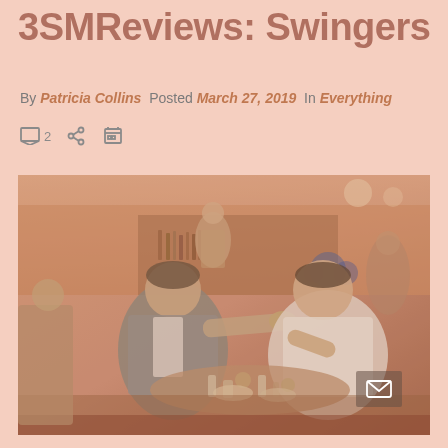3SMReviews: Swingers
By Patricia Collins  Posted March 27, 2019  In Everything
[Figure (photo): Scene from the movie Swingers showing two men in a diner, one pointing at the other, with other patrons and staff visible in the background. The image has a warm sepia/orange tint.]